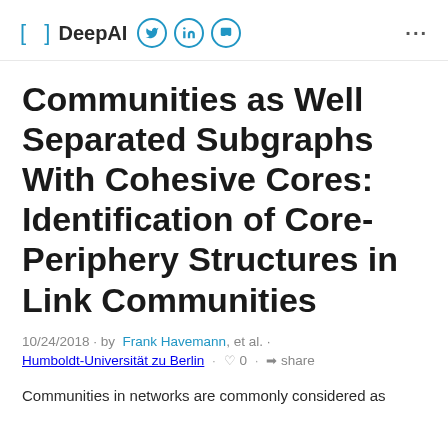[ ] DeepAI
Communities as Well Separated Subgraphs With Cohesive Cores: Identification of Core-Periphery Structures in Link Communities
10/24/2018 · by Frank Havemann, et al. · Humboldt-Universität zu Berlin · 0 · share
Communities in networks are commonly considered as